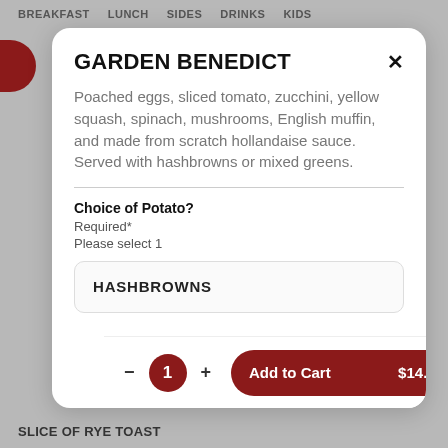BREAKFAST   LUNCH   SIDES   DRINKS   KIDS
GARDEN BENEDICT
Poached eggs, sliced tomato, zucchini, yellow squash, spinach, mushrooms, English muffin, and made from scratch hollandaise sauce. Served with hashbrowns or mixed greens.
Choice of Potato?
Required*
Please select 1
HASHBROWNS
1   Add to Cart   $14.99
SLICE OF RYE TOAST